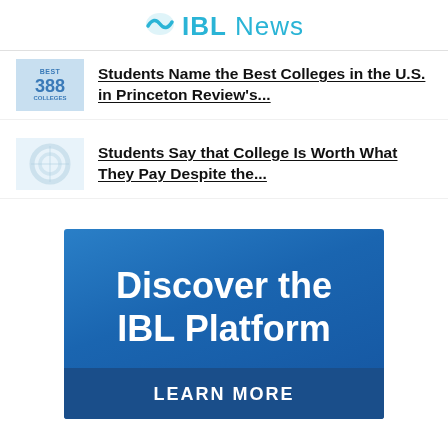IBL News
Students Name the Best Colleges in the U.S. in Princeton Review's...
Students Say that College Is Worth What They Pay Despite the...
[Figure (infographic): IBL Platform advertisement banner with 'Discover the IBL Platform' text and 'LEARN MORE' button on blue gradient background]